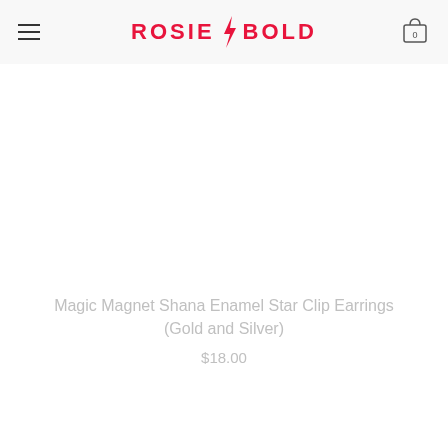ROSIE BOLD
[Figure (photo): Product image area (blank/white) for Magic Magnet Shana Enamel Star Clip Earrings]
Magic Magnet Shana Enamel Star Clip Earrings (Gold and Silver)
$18.00